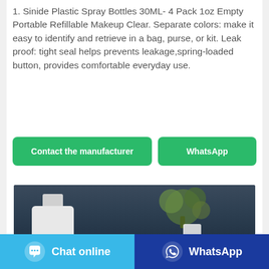1. Sinide Plastic Spray Bottles 30ML- 4 Pack 1oz Empty Portable Refillable Makeup Clear. Separate colors: make it easy to identify and retrieve in a bag, purse, or kit. Leak proof: tight seal helps prevents leakage,spring-loaded button, provides comfortable everyday use.
[Figure (other): Two green buttons: 'Contact the manufacturer' and 'WhatsApp']
[Figure (photo): Photo of white spray bottles on dark background with a plant and a small labeled bottle]
[Figure (other): Footer bar with two buttons: 'Chat online' (light blue with chat icon) and 'WhatsApp' (dark blue with WhatsApp icon)]